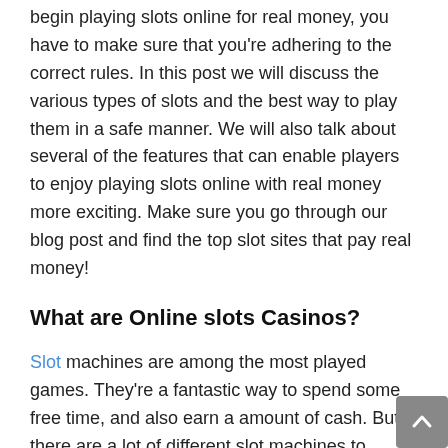begin playing slots online for real money, you have to make sure that you're adhering to the correct rules. In this post we will discuss the various types of slots and the best way to play them in a safe manner. We will also talk about several of the features that can enable players to enjoy playing slots online with real money more exciting. Make sure you go through our blog post and find the top slot sites that pay real money!
What are Online slots Casinos?
Slot machines are among the most played games. They're a fantastic way to spend some free time, and also earn a amount of cash. But, there are a lot of different slot machines to choose from. It's difficult to choose which one is suitable for your needs. That's